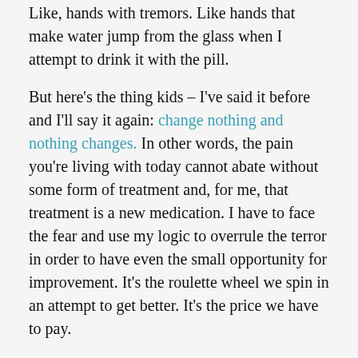Like, hands with tremors. Like hands that make water jump from the glass when I attempt to drink it with the pill.
But here's the thing kids – I've said it before and I'll say it again: change nothing and nothing changes. In other words, the pain you're living with today cannot abate without some form of treatment and, for me, that treatment is a new medication. I have to face the fear and use my logic to overrule the terror in order to have even the small opportunity for improvement. It's the roulette wheel we spin in an attempt to get better. It's the price we have to pay.
And I will pay it in the hopes that I it will bring about a better day. And maybe, just maybe, all the fears won't come true. Maybe it will work as advertised. Maybe it'll make bipolar its bitch. I don't know.
But I'll be brave, because that's what it takes to face